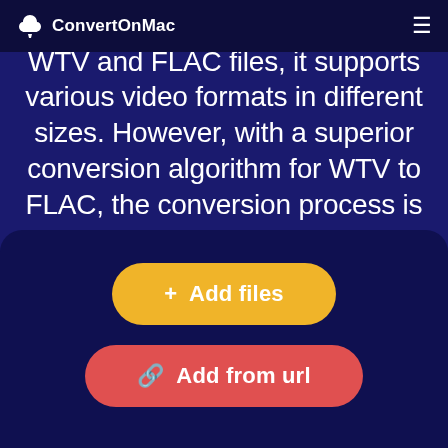ConvertOnMac
worry about this issue. Besides WTV and FLAC files, it supports various video formats in different sizes. However, with a superior conversion algorithm for WTV to FLAC, the conversion process is simple and fast, independent of file size.
[Figure (screenshot): Upload panel with two buttons: '+ Add files' (yellow/orange) and 'Add from url' (red/coral), on a dark navy background with rounded top corners.]